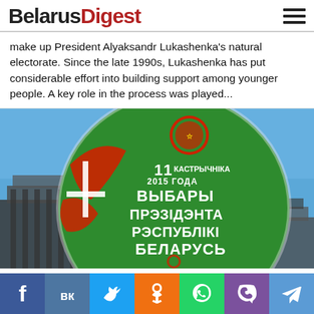BelarusDigest
make up President Alyaksandr Lukashenka's natural electorate. Since the late 1990s, Lukashenka has put considerable effort into building support among younger people. A key role in the process was played...
[Figure (photo): A large round green and red balloon/globe with Belarusian text reading '11 КАСТРЫЧНІКА 2015 ГОДА ВЫБАРЫ ПРЭЗІДЭНТА РЭСПУБЛІКІ БЕЛАРУСЬ' (11 October 2015 Presidential Elections of the Republic of Belarus), featuring the Belarusian coat of arms at the top and a Belarusian flag emblem. Against a blue sky with a building in the background.]
Social sharing bar: Facebook, VK, Twitter, Odnoklassniki, WhatsApp, Viber, Telegram